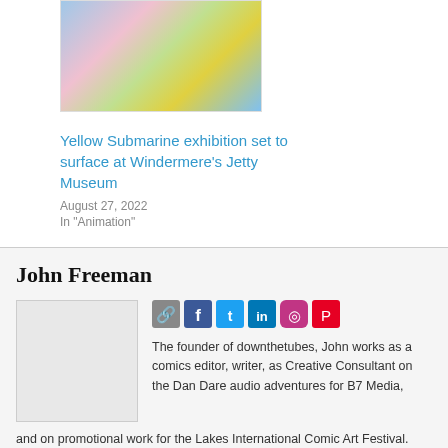[Figure (photo): Colorful illustrated image related to Yellow Submarine exhibition]
Yellow Submarine exhibition set to surface at Windermere's Jetty Museum
August 27, 2022
In "Animation"
John Freeman
[Figure (photo): Author avatar placeholder image]
The founder of downthetubes, John works as a comics editor, writer, as Creative Consultant on the Dan Dare audio adventures for B7 Media, and on promotional work for the Lakes International Comic Art Festival. Working in British comics publishing for over 30 years, his credits include editor of titles such as Doctor Who Magazine, Star Trek Magazine and Babylon 5 Magazine. He also edited the comics anthology STRIP Magazine and edited